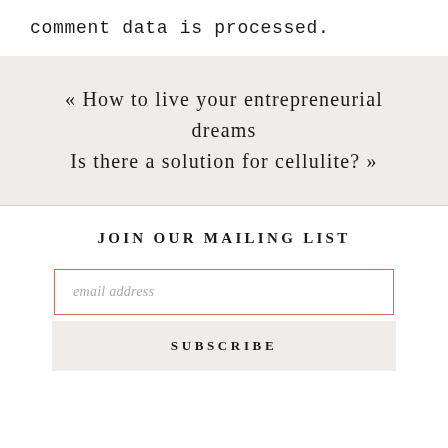comment data is processed.
« How to live your entrepreneurial dreams
Is there a solution for cellulite? »
JOIN OUR MAILING LIST
email address
SUBSCRIBE